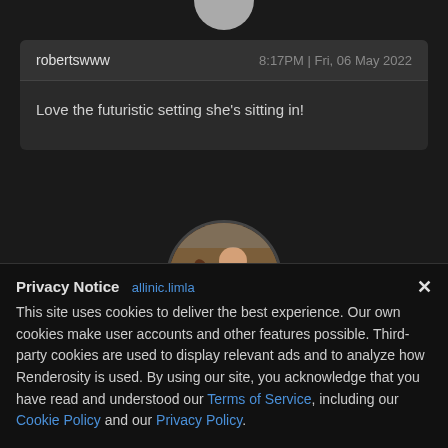[Figure (photo): Partial profile avatar circle visible at top center of page]
robertswww	8:17PM | Fri, 06 May 2022
Love the futuristic setting she's sitting in!
[Figure (photo): Circular profile photo showing a person hugging a large dog, brown tones]
Privacy Notice
This site uses cookies to deliver the best experience. Our own cookies make user accounts and other features possible. Third-party cookies are used to display relevant ads and to analyze how Renderosity is used. By using our site, you acknowledge that you have read and understood our Terms of Service, including our Cookie Policy and our Privacy Policy.